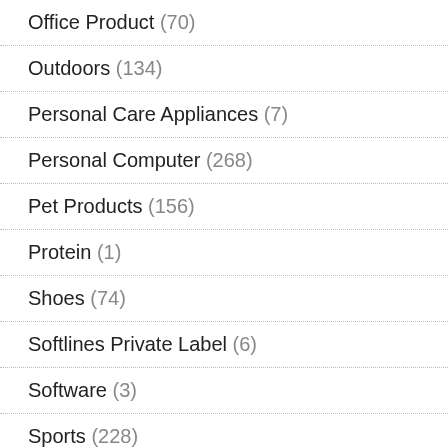Office Product (70)
Outdoors (134)
Personal Care Appliances (7)
Personal Computer (268)
Pet Products (156)
Protein (1)
Shoes (74)
Softlines Private Label (6)
Software (3)
Sports (228)
Sports Memorabilia (4)
Tires (15)